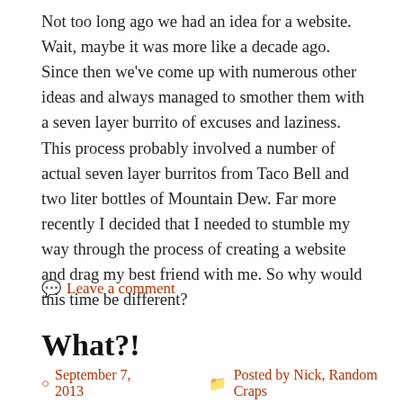Not too long ago we had an idea for a website. Wait, maybe it was more like a decade ago. Since then we've come up with numerous other ideas and always managed to smother them with a seven layer burrito of excuses and laziness. This process probably involved a number of actual seven layer burritos from Taco Bell and two liter bottles of Mountain Dew. Far more recently I decided that I needed to stumble my way through the process of creating a website and drag my best friend with me. So why would this time be different?
Leave a comment
What?!
September 7, 2013   Posted by Nick, Random Craps